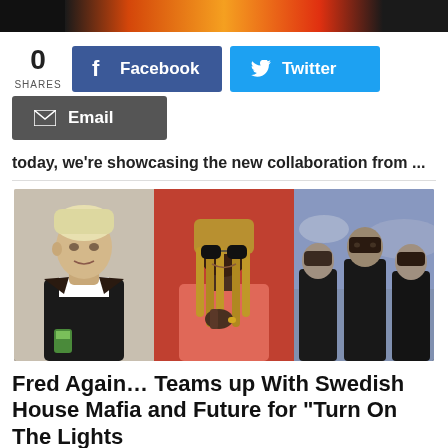[Figure (photo): Top banner image strip showing partial photos with dark and orange/red gradient sections]
0 SHARES
[Figure (infographic): Facebook share button (blue) and Twitter share button (light blue) side by side]
[Figure (infographic): Email share button (dark gray)]
today, we're showcasing the new collaboration from ...
[Figure (photo): Three-panel photo collage: left panel shows Fred Again... (man with blond hair in dark jacket), center panel shows Future (man with braids in pink), right panel shows Swedish House Mafia (three men in dark clothing)]
Fred Again… Teams up With Swedish House Mafia and Future for "Turn On The Lights